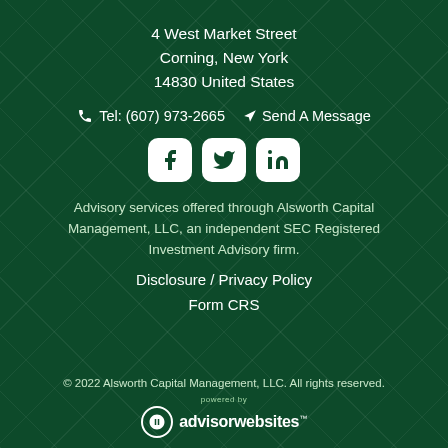4 West Market Street
Corning, New York
14830 United States
Tel: (607) 973-2665   Send A Message
[Figure (other): Facebook, Twitter, and LinkedIn social media icons in white on rounded square backgrounds]
Advisory services offered through Alsworth Capital Management, LLC, an independent SEC Registered Investment Advisory firm.
Disclosure / Privacy Policy
Form CRS
© 2022 Alsworth Capital Management, LLC. All rights reserved.
[Figure (logo): Powered by AdvisorWebsites logo with circular icon and stylized text]